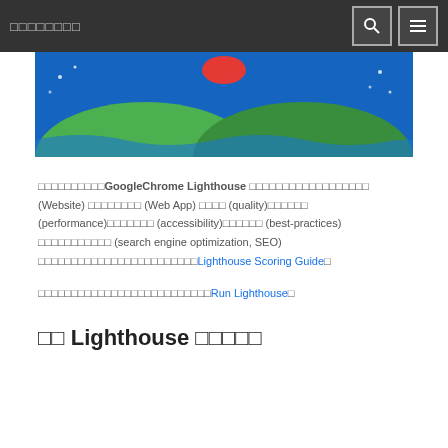□□□□□□□□
[Figure (illustration): Google Chrome Lighthouse logo/illustration with blue background, green hills/waves, and colored accents]
□□□□□□□□□□GoogleChrome Lighthouse □□□□□□□□□□□□□□□□□□ (Website) □□□□□□□□ (Web App) □□□□ (quality)□□□□□□ (performance)□□□□□□□ (accessibility)□□□□□□ (best-practices) □□□□□□□□□□□ (search engine optimization, SEO) □□□□□□□□□□□□□□□□□□□□□□□□Lighthouse Scoring Guide□
□□□□□□□□□□□□□□□□□□□□□□□□□□Run Lighthouse□
□□ Lighthouse □□□□□